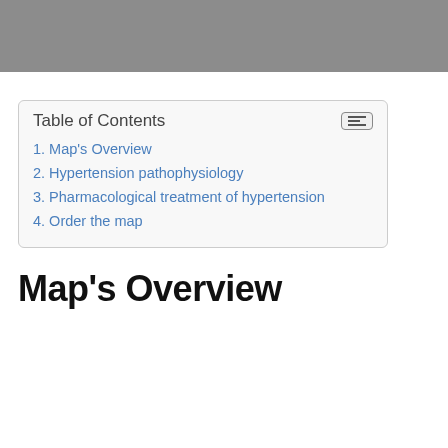[Figure (other): Gray header bar at top of page]
Table of Contents
1. Map's Overview
2. Hypertension pathophysiology
3. Pharmacological treatment of hypertension
4. Order the map
Map's Overview